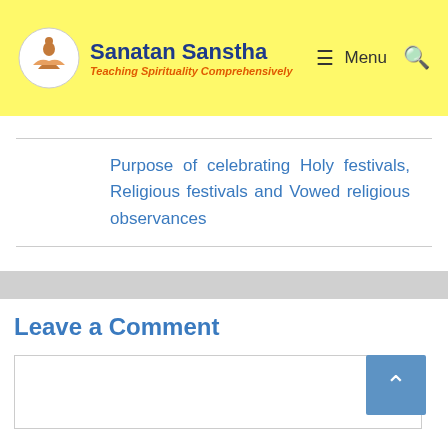Sanatan Sanstha – Teaching Spirituality Comprehensively
Purpose of celebrating Holy festivals, Religious festivals and Vowed religious observances
Leave a Comment